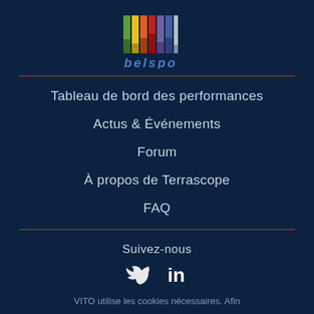[Figure (logo): Belspo logo: colorful vertical bars in green, yellow, orange, red, purple, blue, white/gray, with the word 'belspo' in blue italic below]
Tableau de bord des performances
Actus & Événements
Forum
À propos de Terrascope
FAQ
Suivez-nous
[Figure (illustration): Twitter and LinkedIn social media icons in white]
VITO utilise les cookies nécessaires. Afin